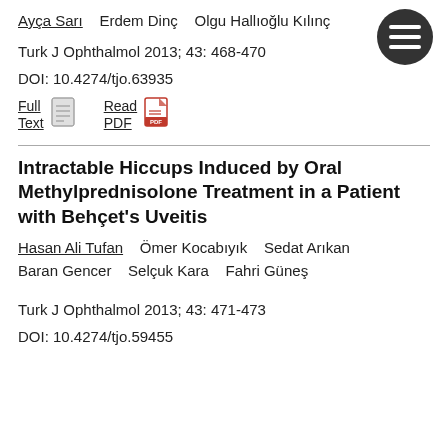Ayça Sarı    Erdem Dinç    Olgu Hallıoğlu Kılınç
Turk J Ophthalmol 2013; 43: 468-470
DOI: 10.4274/tjo.63935
Full Text    Read PDF
Intractable Hiccups Induced by Oral Methylprednisolone Treatment in a Patient with Behçet's Uveitis
Hasan Ali Tufan    Ömer Kocabıyık    Sedat Arıkan
Baran Gencer    Selçuk Kara    Fahri Güneş
Turk J Ophthalmol 2013; 43: 471-473
DOI: 10.4274/tjo.59455